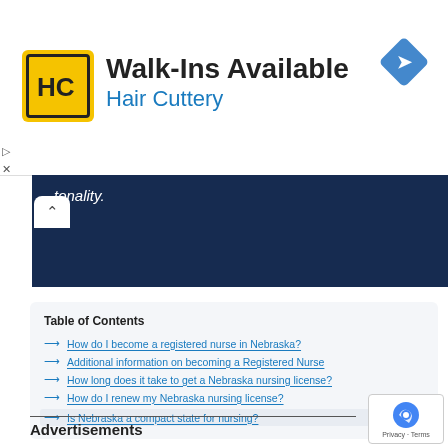[Figure (logo): Hair Cuttery advertisement banner with yellow HC logo, Walk-Ins Available text, and navigation diamond icon]
[Figure (other): Dark navy blue bar with partially visible italic text 'tonality.' and a chevron up button]
Table of Contents
How do I become a registered nurse in Nebraska?
Additional information on becoming a Registered Nurse
How long does it take to get a Nebraska nursing license?
How do I renew my Nebraska nursing license?
Is Nebraska a compact state for nursing?
Advertisements